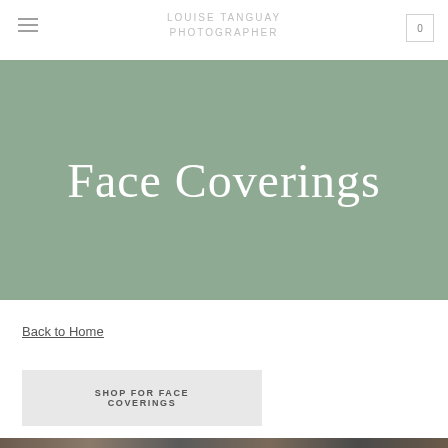LOUISE TANGUAY PHOTOGRAPHER
Face Coverings
Back to Home
SHOP FOR FACE COVERINGS
[Figure (photo): Bottom strip showing partial image of face coverings or products]